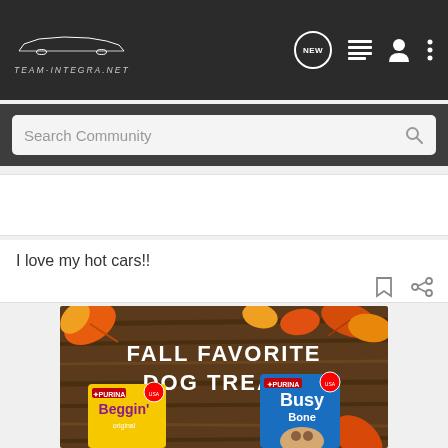Team-Integra.net navigation bar with logo, NEW button, list icon, user icon, menu icon
Search Community
I love my hot cars!!
[Figure (advertisement): Purina dog treats advertisement: 'FALL FAVORITE DOG TREATS' on a wooden background with autumn leaves, featuring Purina Beggin' and Purina Busy Bone product packages]